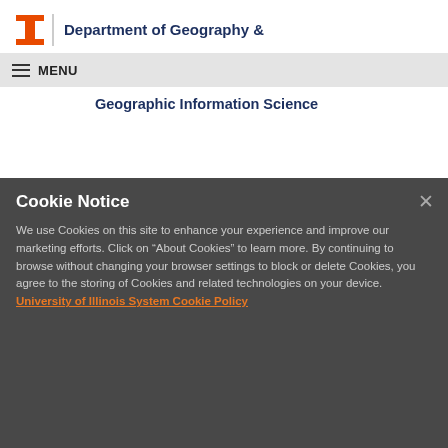Department of Geography & Geographic Information Science
MENU
Cookie Notice
We use Cookies on this site to enhance your experience and improve our marketing efforts. Click on “About Cookies” to learn more. By continuing to browse without changing your browser settings to block or delete Cookies, you agree to the storing of Cookies and related technologies on your device. University of Illinois System Cookie Policy